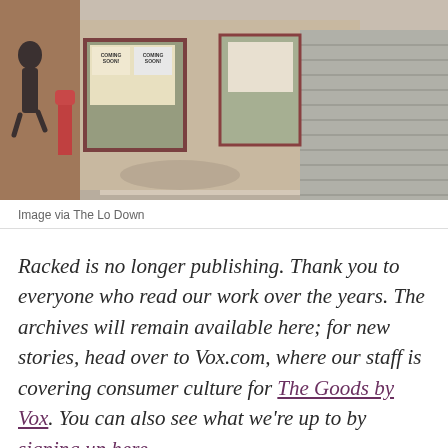[Figure (photo): Street scene showing a sidewalk with storefronts, a person walking, a red mailbox, and metal security shutters. Signs in windows read 'COMING SOON!']
Image via The Lo Down
Racked is no longer publishing. Thank you to everyone who read our work over the years. The archives will remain available here; for new stories, head over to Vox.com, where our staff is covering consumer culture for The Goods by Vox. You can also see what we're up to by signing up here.